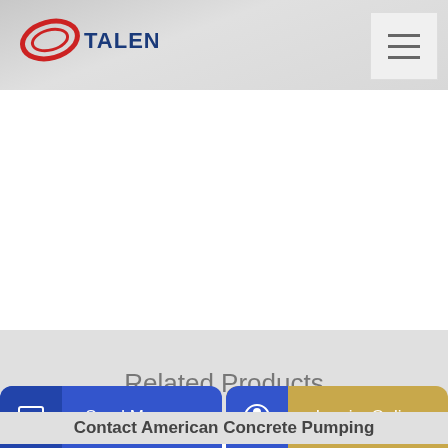TALENET
Related Products
concrete pump factory Spain
Contact American Concrete Pumping
Send Message
Inquiry Online